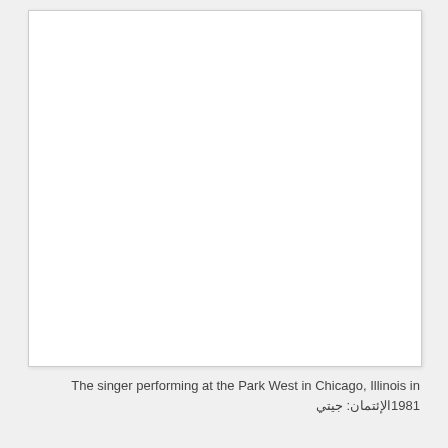[Figure (photo): A large white/blank photograph placeholder area with light border and shadow, representing a singer performing at Park West in Chicago, Illinois in 1981.]
The singer performing at the Park West in Chicago, Illinois in 1981 الإئتمان: جيتي